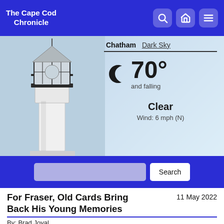The Cape Cod Chronicle
[Figure (photo): Lighthouse with black railing and glass lantern room against a light blue sky, with a white tower]
Chatham | Dark Sky
70° and falling
Clear
Wind: 6 mph (N)
Search
For Fraser, Old Cards Bring Back His Young Memories
11 May 2022
By: Brad Joyal